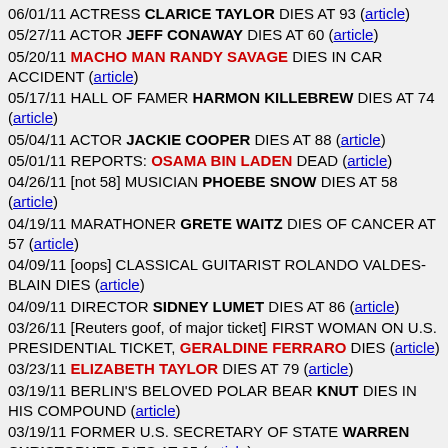06/01/11 ACTRESS CLARICE TAYLOR DIES AT 93 (article)
05/27/11 ACTOR JEFF CONAWAY DIES AT 60 (article)
05/20/11 MACHO MAN RANDY SAVAGE DIES IN CAR ACCIDENT (article)
05/17/11 HALL OF FAMER HARMON KILLEBREW DIES AT 74 (article)
05/04/11 ACTOR JACKIE COOPER DIES AT 88 (article)
05/01/11 REPORTS: OSAMA BIN LADEN DEAD (article)
04/26/11 [not 58] MUSICIAN PHOEBE SNOW DIES AT 58 (article)
04/19/11 MARATHONER GRETE WAITZ DIES OF CANCER AT 57 (article)
04/09/11 [oops] CLASSICAL GUITARIST ROLANDO VALDES-BLAIN DIES (article)
04/09/11 DIRECTOR SIDNEY LUMET DIES AT 86 (article)
03/26/11 [Reuters goof, of major ticket] FIRST WOMAN ON U.S. PRESIDENTIAL TICKET, GERALDINE FERRARO DIES (article)
03/23/11 ELIZABETH TAYLOR DIES AT 79 (article)
03/19/11 BERLIN'S BELOVED POLAR BEAR KNUT DIES IN HIS COMPOUND (article)
03/19/11 FORMER U.S. SECRETARY OF STATE WARREN CHRISTOPHER DIES AT 85 (article)
03/17/11 'ALFRED' FROM 'BATMAN' MOVIES, MICHAEL GOUGH DIES AT 94 (article)
03/16/11 RAPPER NATE DOGG DEAD AT 41 (article)